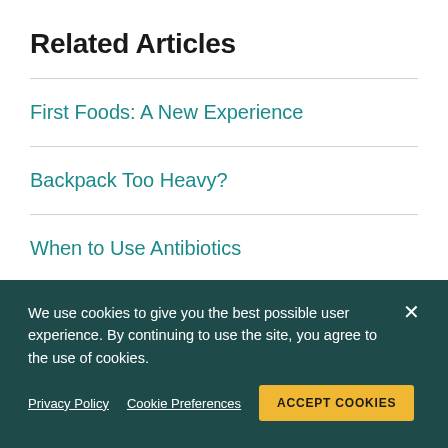Related Articles
First Foods: A New Experience
Backpack Too Heavy?
When to Use Antibiotics
We use cookies to give you the best possible user experience. By continuing to use the site, you agree to the use of cookies.
Privacy Policy   Cookie Preferences   ACCEPT COOKIES